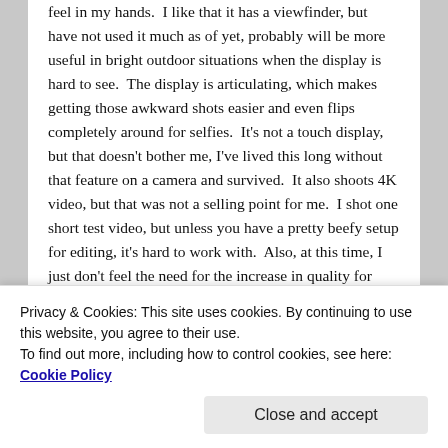feel in my hands.  I like that it has a viewfinder, but have not used it much as of yet, probably will be more useful in bright outdoor situations when the display is hard to see.  The display is articulating, which makes getting those awkward shots easier and even flips completely around for selfies.  It’s not a touch display, but that doesn’t bother me, I’ve lived this long without that feature on a camera and survived.  It also shoots 4K video, but that was not a selling point for me.  I shot one short test video, but unless you have a pretty beefy setup for editing, it’s hard to work with.  Also, at this time, I just don’t feel the need for the increase in quality for video.  Perhaps in the future.
[Figure (photo): Partial view of a camera-related image with a blue gradient background, partially obscured by a cookie consent banner.]
Privacy & Cookies: This site uses cookies. By continuing to use this website, you agree to their use.
To find out more, including how to control cookies, see here: Cookie Policy